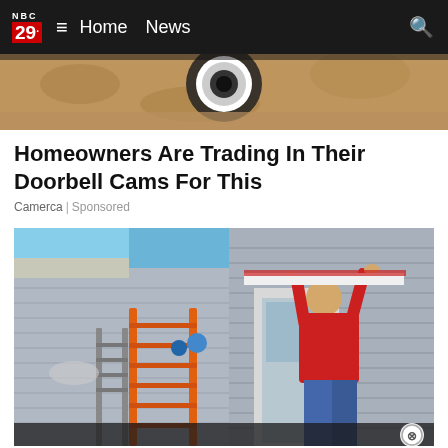NBC 29 ≡ Home News 🔍
[Figure (photo): Close-up photo of a doorbell camera mounted on a wall, partial view]
Homeowners Are Trading In Their Doorbell Cams For This
Camerca | Sponsored
[Figure (photo): Person in red shirt on orange ladder installing something above a door on a house with blue/grey siding, clear blue sky in background]